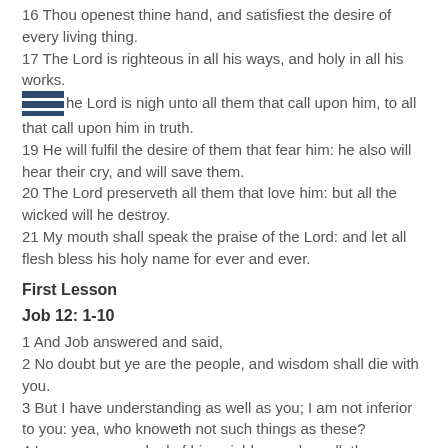16 Thou openest thine hand, and satisfiest the desire of every living thing.
17 The Lord is righteous in all his ways, and holy in all his works.
18 The Lord is nigh unto all them that call upon him, to all that call upon him in truth.
19 He will fulfil the desire of them that fear him: he also will hear their cry, and will save them.
20 The Lord preserveth all them that love him: but all the wicked will he destroy.
21 My mouth shall speak the praise of the Lord: and let all flesh bless his holy name for ever and ever.
First Lesson
Job 12: 1-10
1 And Job answered and said,
2 No doubt but ye are the people, and wisdom shall die with you.
3 But I have understanding as well as you; I am not inferior to you: yea, who knoweth not such things as these?
4 I am as one mocked of his neighbour, who calleth upon God,